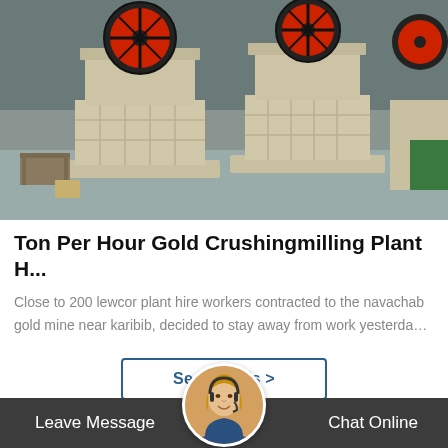[Figure (photo): Industrial jaw crusher machines in a factory warehouse setting. Several large beige/cream colored jaw crushers with red and black flywheels are displayed on a concrete floor.]
Ton Per Hour Gold Crushingmilling Plant H...
Close to 200 lewcor plant hire workers contracted to the navachab gold mine near karibib, decided to stay away from work yesterda…
See Details >
Leave Message   Chat Online